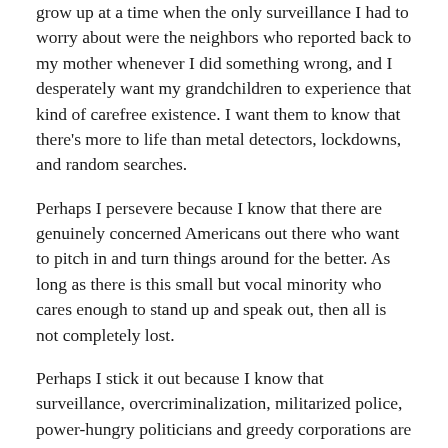grow up at a time when the only surveillance I had to worry about were the neighbors who reported back to my mother whenever I did something wrong, and I desperately want my grandchildren to experience that kind of carefree existence. I want them to know that there's more to life than metal detectors, lockdowns, and random searches.
Perhaps I persevere because I know that there are genuinely concerned Americans out there who want to pitch in and turn things around for the better. As long as there is this small but vocal minority who cares enough to stand up and speak out, then all is not completely lost.
Perhaps I stick it out because I know that surveillance, overcriminalization, militarized police, power-hungry politicians and greedy corporations are not exclusive to America, and there's nowhere you can escape to where tyranny cannot follow.
Most of all, perhaps I keep fighting on because I'm just not ready to give up on America. At least, not yet.